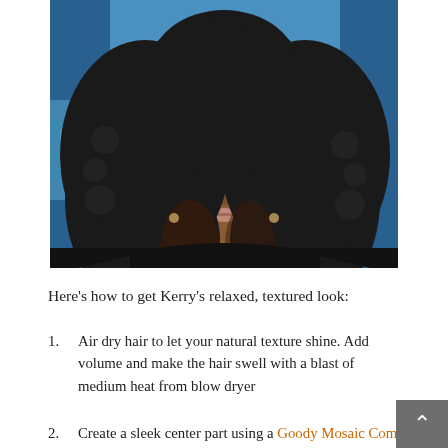[Figure (photo): Portrait photo of a woman with voluminous curly/kinky black hair wearing a black strapless top, in front of a blue background. Likely Kerry Washington.]
Here’s how to get Kerry’s relaxed, textured look:
Air dry hair to let your natural texture shine. Add volume and make the hair swell with a blast of medium heat from blow dryer
Create a sleek center part using a Goody Mosaic Comb